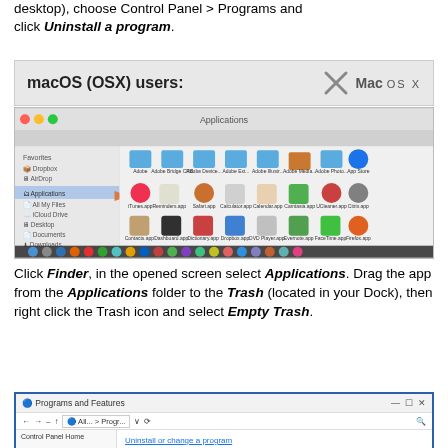desktop), choose Control Panel > Programs and click Uninstall a program.
[Figure (screenshot): macOS (OSX) users section header with Mac OS X logo]
[Figure (screenshot): macOS Applications folder window screenshot showing various app icons including Finder, Dropbox, iTunes, Safari, and others in the Finder window with sidebar]
Click Finder, in the opened screen select Applications. Drag the app from the Applications folder to the Trash (located in your Dock), then right click the Trash icon and select Empty Trash.
[Figure (screenshot): Windows Programs and Features control panel window showing title bar, address bar with All... > Progr... path, Control Panel Home sidebar, and Uninstall or change a program link]